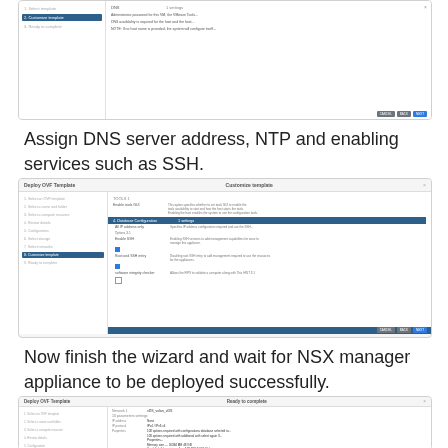[Figure (screenshot): Screenshot of Deploy OVF Template wizard - Customize template step showing DNS/NTP configuration fields]
Assign DNS server address, NTP and enabling services such as SSH.
[Figure (screenshot): Screenshot of Deploy OVF Template wizard - Customize template step showing Database Configuration section with Enable SSH checkbox and other settings]
Now finish the wizard and wait for NSX manager appliance to be deployed successfully.
[Figure (screenshot): Screenshot of Deploy OVF Template wizard - Ready to complete step showing summary of configuration settings]